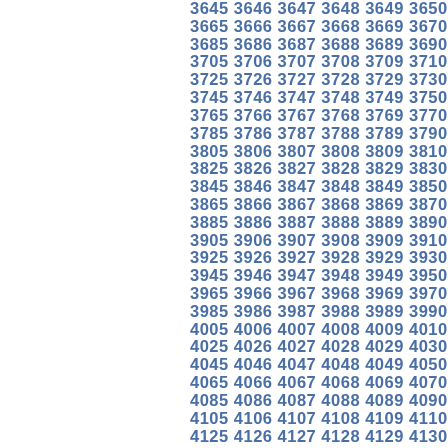3645 3646 3647 3648 3649 3650 3651 3652 3653 3665 3666 3667 3668 3669 3670 3671 3672 3673 3685 3686 3687 3688 3689 3690 3691 3692 3693 3705 3706 3707 3708 3709 3710 3711 3712 3713 3725 3726 3727 3728 3729 3730 3731 3732 3733 3745 3746 3747 3748 3749 3750 3751 3752 3753 3765 3766 3767 3768 3769 3770 3771 3772 3773 3785 3786 3787 3788 3789 3790 3791 3792 3793 3805 3806 3807 3808 3809 3810 3811 3812 3813 3825 3826 3827 3828 3829 3830 3831 3832 3833 3845 3846 3847 3848 3849 3850 3851 3852 3853 3865 3866 3867 3868 3869 3870 3871 3872 3873 3885 3886 3887 3888 3889 3890 3891 3892 3893 3905 3906 3907 3908 3909 3910 3911 3912 3913 3925 3926 3927 3928 3929 3930 3931 3932 3933 3945 3946 3947 3948 3949 3950 3951 3952 3953 3965 3966 3967 3968 3969 3970 3971 3972 3973 3985 3986 3987 3988 3989 3990 3991 3992 3993 4005 4006 4007 4008 4009 4010 4011 4012 4013 4025 4026 4027 4028 4029 4030 4031 4032 4033 4045 4046 4047 4048 4049 4050 4051 4052 4053 4065 4066 4067 4068 4069 4070 4071 4072 4073 4085 4086 4087 4088 4089 4090 4091 4092 4093 4105 4106 4107 4108 4109 4110 4111 4112 4113 4125 4126 4127 4128 4129 4130 4131 4132 4133